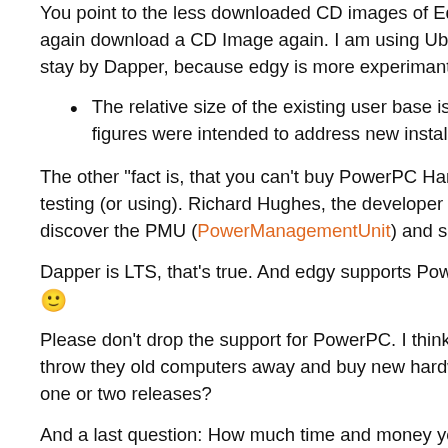You point to the less downloaded CD images of Edgy for PowerPC, but I can't again download a CD Image again. I am using Ubuntu Edgy now, but others may stay by Dapper, because edgy is more experimantel then the m
The relative size of the existing user base is already add figures were intended to address new installs only. I've c
The other "fact is, that you can't buy PowerPC Hardware from A testing (or using). Richard Hughes, the developer behind the a discover the PMU (PowerManagementUnit) and support it.
Dapper is LTS, that's true. And edgy supports PowerPC, but I do [emoji]
Please don't drop the support for PowerPC. I think they are a lo throw they old computers away and buy new hardware. And it' one or two releases?
And a last question: How much time and money you would rea sounds a lot, but are they automated etc. How much attention
These tests are presently entirely manual. We are workin large amount of core development team time just before support for Xen on powerpc makes certain kinds of autor actually a fairly major issue for some of our mirrors; note